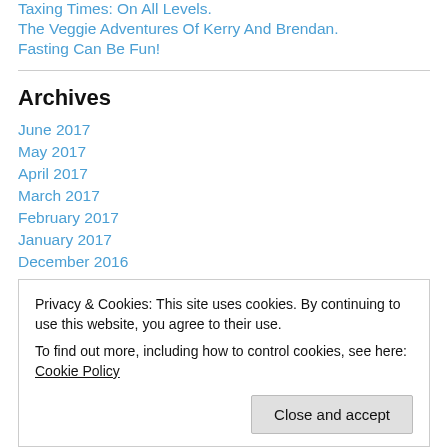Taxing Times: On All Levels.
The Veggie Adventures Of Kerry And Brendan.
Fasting Can Be Fun!
Archives
June 2017
May 2017
April 2017
March 2017
February 2017
January 2017
December 2016
Privacy & Cookies: This site uses cookies. By continuing to use this website, you agree to their use. To find out more, including how to control cookies, see here: Cookie Policy
May 2016